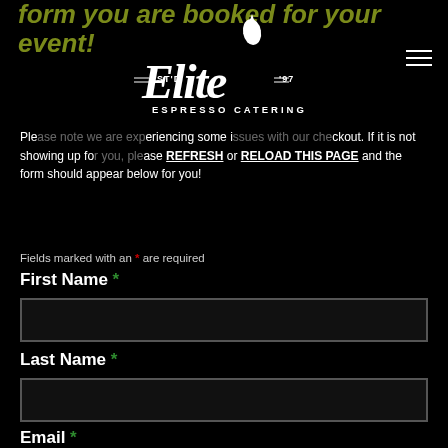form you are booked for your event!
[Figure (logo): Elite Espresso Catering script logo with espresso drop icon, EST'D '97]
Please note we are currently experiencing some issues with our checkout. If it is not showing up for you please REFRESH or RELOAD THIS PAGE and the form should appear below for you!
Fields marked with an * are required
First Name *
Last Name *
Email *